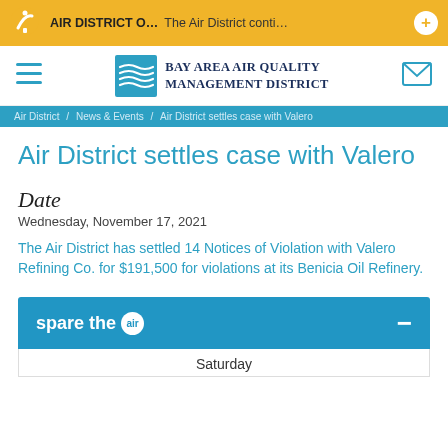AIR DISTRICT O… The Air District conti…
[Figure (logo): Bay Area Air Quality Management District logo with stylized water/air waves icon and organization name]
Air District / News & Events / Air District settles case with Valero
Air District settles case with Valero
Date
Wednesday, November 17, 2021
The Air District has settled 14 Notices of Violation with Valero Refining Co. for $191,500 for violations at its Benicia Oil Refinery.
[Figure (logo): Spare the Air banner with circular air logo icon and minus collapse button]
Saturday